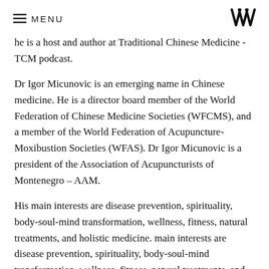MENU [logo]
he is a host and author at Traditional Chinese Medicine - TCM podcast.
Dr Igor Micunovic is an emerging name in Chinese medicine. He is a director board member of the World Federation of Chinese Medicine Societies (WFCMS), and a member of the World Federation of Acupuncture-Moxibustion Societies (WFAS). Dr Igor Micunovic is a president of the Association of Acupuncturists of Montenegro – AAM.
His main interests are disease prevention, spirituality, body-soul-mind transformation, wellness, fitness, natural treatments, and holistic medicine. main interests are disease prevention, spirituality, body-soul-mind transformation, wellness, fitness, natural treatments, and holistic medicine.